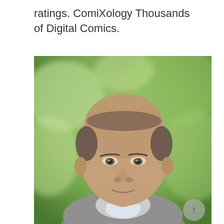ratings. ComiXology Thousands of Digital Comics.
[Figure (photo): Portrait photo of a middle-aged to older man with a balding head, slight smile, wearing a light gray suit jacket and collared shirt, photographed outdoors against a blurred green foliage background.]